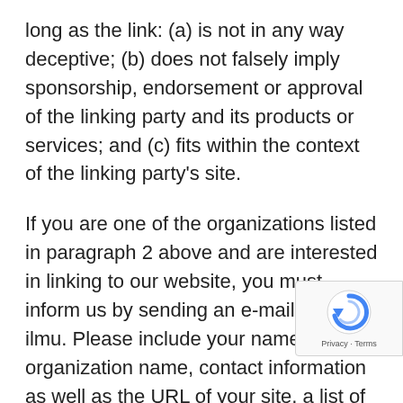long as the link: (a) is not in any way deceptive; (b) does not falsely imply sponsorship, endorsement or approval of the linking party and its products or services; and (c) fits within the context of the linking party's site.
If you are one of the organizations listed in paragraph 2 above and are interested in linking to our website, you must inform us by sending an e-mail to situs ilmu. Please include your name, your organization name, contact information as well as the URL of your site, a list of any URLs from which you intend to link to our Website, and a list of the URLs on our site to which you would like to link. Wait 2-3 weeks for a response.
Approved organizations may hyperlink to our Website as follows: